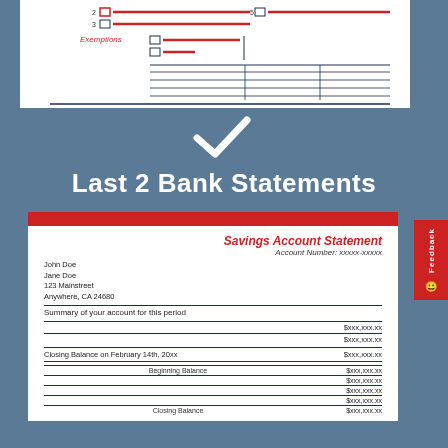[Figure (other): Top portion of a tax form (W-4 or similar) showing checkboxes, exemptions fields, and horizontal lines in red and dark blue]
[Figure (illustration): White checkmark icon on steel-blue background]
Last 2 Bank Statements
[Figure (other): Savings Account Statement document card with red header bar, account holder info (John Doe, Jane Doe, 123 Mainstreet, Anywhere, CA 24680), account number xxxxx-xxxxx, summary section showing $xxx,xxx.xx amounts, closing balance on February 14th, 20xx, and beginning/closing balance rows]
Savings Account Statement
Account Number: xxxxx-xxxxx
John Doe
Jane Doe
123 Mainstreet
Anywhere, CA 24680
Summary of your account for this period
|  | $xxx,xxx.xx |
|  | $xxx,xxx.xx |
| Closing Balance on February 14th, 20xx | $xxx,xxx.xx |
| Beginning Balance | $xxx,xxx.xx |
|  | $xxx,xxx.xx |
|  | $xxx,xxx.xx |
|  | $xxx,xxx.xx |
| Closing Balance | $xxx,xxx.xx |